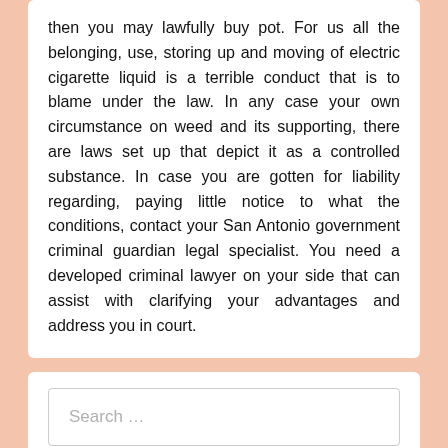then you may lawfully buy pot. For us all the belonging, use, storing up and moving of electric cigarette liquid is a terrible conduct that is to blame under the law. In any case your own circumstance on weed and its supporting, there are laws set up that depict it as a controlled substance. In case you are gotten for liability regarding, paying little notice to what the conditions, contact your San Antonio government criminal guardian legal specialist. You need a developed criminal lawyer on your side that can assist with clarifying your advantages and address you in court.
Search …
[Figure (map): Partial map thumbnail with a red icon in the bottom-right corner showing a white flower/asterisk symbol]